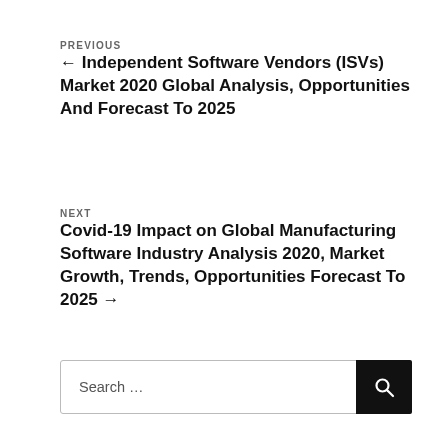PREVIOUS
← Independent Software Vendors (ISVs) Market 2020 Global Analysis, Opportunities And Forecast To 2025
NEXT
Covid-19 Impact on Global Manufacturing Software Industry Analysis 2020, Market Growth, Trends, Opportunities Forecast To 2025 →
Search …